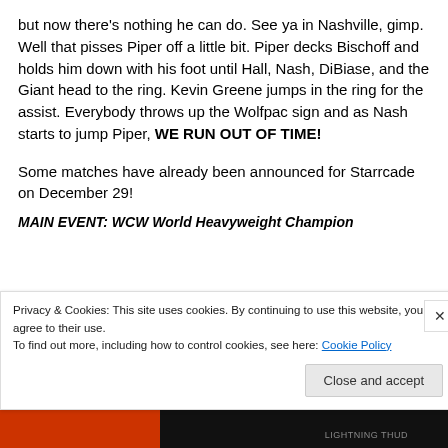but now there's nothing he can do. See ya in Nashville, gimp. Well that pisses Piper off a little bit. Piper decks Bischoff and holds him down with his foot until Hall, Nash, DiBiase, and the Giant head to the ring. Kevin Greene jumps in the ring for the assist. Everybody throws up the Wolfpac sign and as Nash starts to jump Piper, WE RUN OUT OF TIME!
Some matches have already been announced for Starrcade on December 29!
MAIN EVENT: WCW World Heavyweight Champion…
Privacy & Cookies: This site uses cookies. By continuing to use this website, you agree to their use.
To find out more, including how to control cookies, see here: Cookie Policy